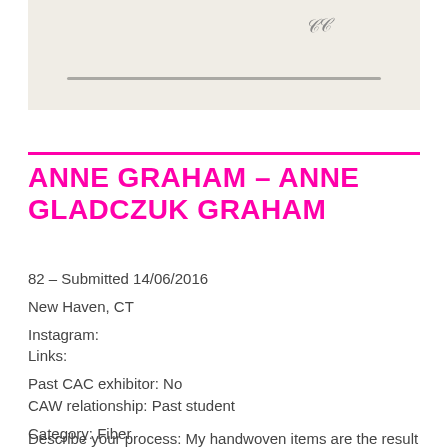[Figure (photo): Photograph showing a horizontal bar/rod on a light beige/white background with a small signature mark in the upper right area]
ANNE GRAHAM – ANNE GLADCZUK GRAHAM
82 – Submitted 14/06/2016
New Haven, CT
Instagram:
Links:
Past CAC exhibitor: No
CAW relationship: Past student
Category: Fiber
Describe your process: My handwoven items are the result of